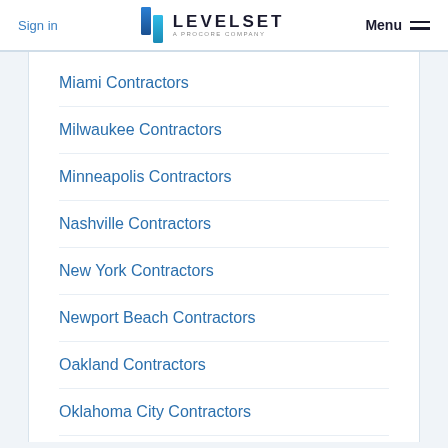Sign in | LEVELSET A PROCORE COMPANY | Menu
Miami Contractors
Milwaukee Contractors
Minneapolis Contractors
Nashville Contractors
New York Contractors
Newport Beach Contractors
Oakland Contractors
Oklahoma City Contractors
Ontario Contractors
Orange Contractors